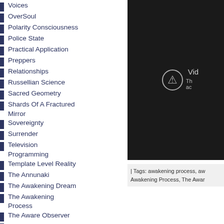Voices
OverSoul
Polarity Consciousness
Police State
Practical Application
Preppers
Relationships
Russellian Science
Sacred Geometry
Shards Of A Fractured Mirror
Sovereignty
Surrender
Television Programming
Template Level Reality
The Annunaki
The Awakening Dream
The Awakening Process
The Aware Observer
The Business of War
The Gnostics
The Orbs
The Shalanaya
Transparency
Triangle Craft
[Figure (screenshot): Video player with error icon showing unavailable video in dark background]
| Tags: awakening process, aw... Awakening Process, The Awar...